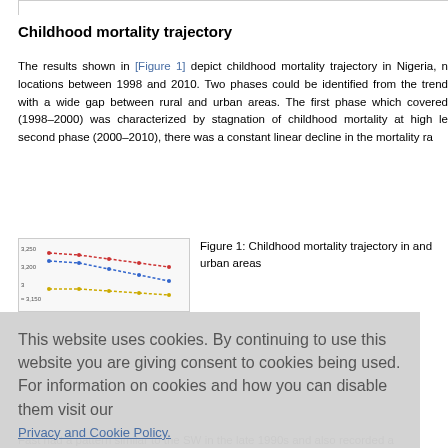Childhood mortality trajectory
The results shown in [Figure 1] depict childhood mortality trajectory in Nigeria, n locations between 1998 and 2010. Two phases could be identified from the trend with a wide gap between rural and urban areas. The first phase which covered (1998–2000) was characterized by stagnation of childhood mortality at high le second phase (2000–2010), there was a constant linear decline in the mortality ra
[Figure (line-chart): Line chart showing childhood mortality trajectory with multiple colored trend lines (red, blue, yellow) declining from 1998 to 2010]
Figure 1: Childhood mortality trajectory in and urban areas
This website uses cookies. By continuing to use this website you are giving consent to cookies being used. For information on cookies and how you can disable them visit our
Privacy and Cookie Policy.
AGREE & PROCEED
North West ies between th Central re the late 199 ns had differ live births b e births in 2
Fast had a pattern similar to the SW in the late 1990s and also recorded a